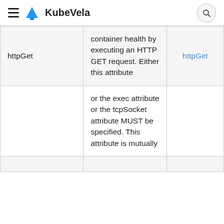KubeVela
|  |  |  |
| --- | --- | --- |
| httpGet | container health by executing an HTTP GET request. Either this attribute | httpGet |
|  | or the exec attribute or the tcpSocket attribute MUST be specified. This attribute is mutually |  |